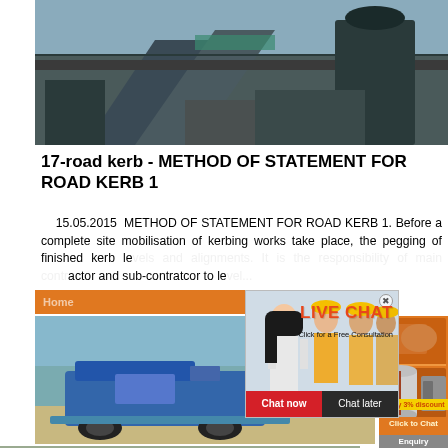[Figure (photo): Industrial machinery / construction equipment site photo at top of page]
17-road kerb - METHOD OF STATEMENT FOR ROAD KERB 1
15.05.2015  METHOD OF STATEMENT FOR ROAD KERB 1. Before a complete site mobilisation of kerbing works take place, the pegging of finished kerb le... actor and sub-contratcor to le...
[Figure (photo): Live chat popup overlay showing workers in hard hats and a woman in white shirt, with LIVE CHAT heading, 'Click for a Free Consultation' text, and Chat now / Chat later buttons]
[Figure (photo): Orange sidebar advertisement showing mining/crushing machinery images, 'Enjoy 3% discount', 'Click to Chat', and 'Enquiry' buttons]
[Figure (photo): Blue tracked mobile crusher machine photo in middle section]
[Figure (photo): Bottom strip photo showing construction materials / kerb stones on ground]